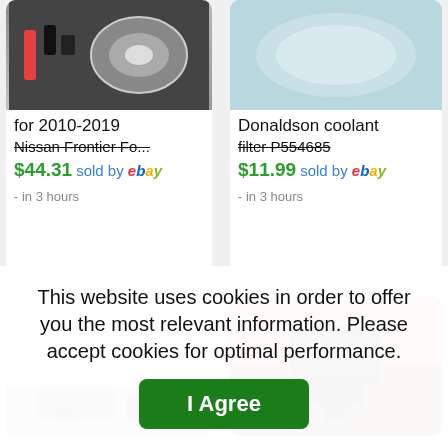[Figure (screenshot): Product listing image for fog lights kit with wiring, black background]
for 2010-2019
Nissan Frontier Fo...
$44.31 sold by ebay
- in 3 hours
[Figure (screenshot): Product listing image for coolant filter, light blue background]
Donaldson coolant
filter P554685
$11.99 sold by ebay
- in 3 hours
[Figure (screenshot): Product listing image, gray background with dark item at bottom]
[Figure (screenshot): Product listing image, black connector/device on wood surface]
This website uses cookies in order to offer you the most relevant information. Please accept cookies for optimal performance.